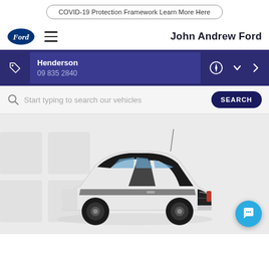COVID-19 Protection Framework Learn More Here
John Andrew Ford
Henderson
09 835 2840
Start typing to search our vehicles
[Figure (photo): White Ford Fiesta with black racing stripes and black wheels on a light grey background with faint Windows logo watermark]